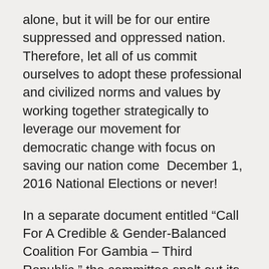alone, but it will be for our entire suppressed and oppressed nation. Therefore, let all of us commit ourselves to adopt these professional and civilized norms and values by working together strategically to leverage our movement for democratic change with focus on saving our nation come  December 1, 2016 National Elections or never!
In a separate document entitled “Call For A Credible & Gender-Balanced Coalition For Gambia – Third Republic,” the committee spelt out its mission of defeating Yahya Jammeh’s 21 years of undemocratic political leadership. Such a leadership resulted to gross violations of human rights, abject poverty, unlawful detentions, extra-judicial killings, murder, disappearances of innocent people, among others. This also resulted to mass exodus of Gambian intellectuals and promising youths to the diaspora